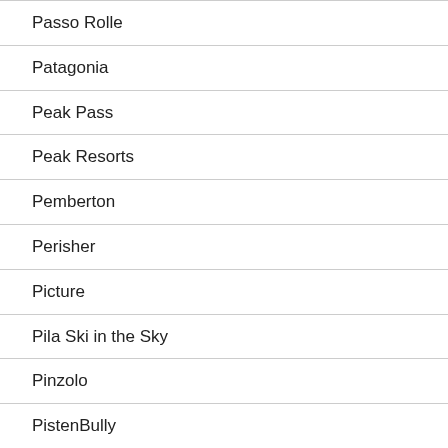Passo Rolle
Patagonia
Peak Pass
Peak Resorts
Pemberton
Perisher
Picture
Pila Ski in the Sky
Pinzolo
PistenBully
Planning your ski trip